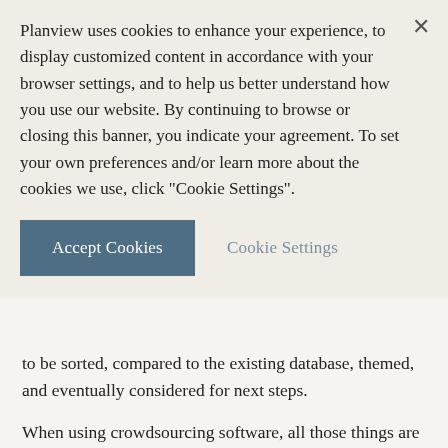Planview uses cookies to enhance your experience, to display customized content in accordance with your browser settings, and to help us better understand how you use our website. By continuing to browse or closing this banner, you indicate your agreement. To set your own preferences and/or learn more about the cookies we use, click "Cookie Settings".
Accept Cookies
Cookie Settings
to be sorted, compared to the existing database, themed, and eventually considered for next steps.
When using crowdsourcing software, all those things are made easy. The crowd can be as small or as large as you like. The session is conducted at one designated time by using specific phases established during which clear activities and calls to action are communicated. Everyone has an exclusive, not just